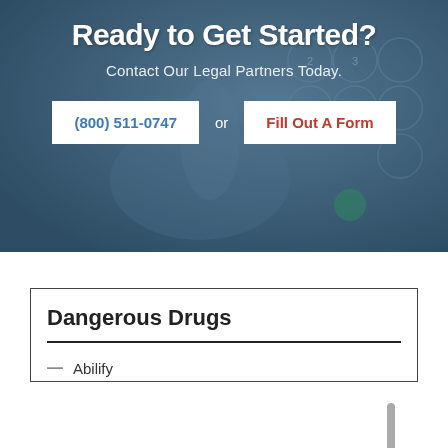[Figure (photo): Blue-tinted photo of a person's hand pressing buttons on a phone keypad, with circular number buttons visible.]
Ready to Get Started?
Contact Our Legal Partners Today.
(800) 511-0747  or  Fill Out A Form
Dangerous Drugs
Abilify